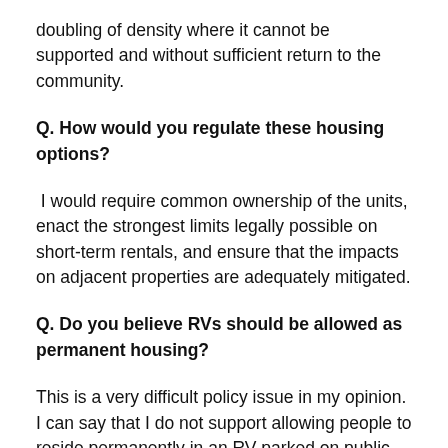doubling of density where it cannot be supported and without sufficient return to the community.
Q. How would you regulate these housing options?
I would require common ownership of the units, enact the strongest limits legally possible on short-term rentals, and ensure that the impacts on adjacent properties are adequately mitigated.
Q. Do you believe RVs should be allowed as permanent housing?
This is a very difficult policy issue in my opinion. I can say that I do not support allowing people to reside permanently in an RV parked on public streets, or in an